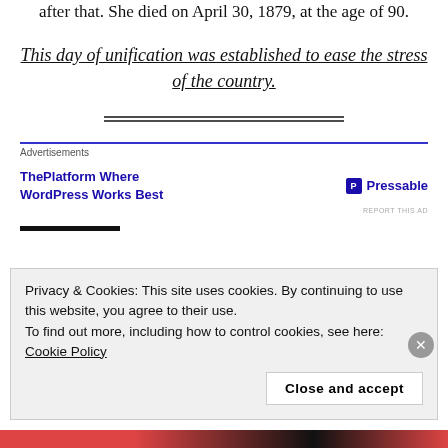after that. She died on April 30, 1879, at the age of 90.
This day of unification was established to ease the stress of the country.
[Figure (other): Horizontal double-line divider]
Advertisements
[Figure (other): Advertisement banner: ThePlatform Where WordPress Works Best — Pressable]
Privacy & Cookies: This site uses cookies. By continuing to use this website, you agree to their use. To find out more, including how to control cookies, see here: Cookie Policy
Close and accept